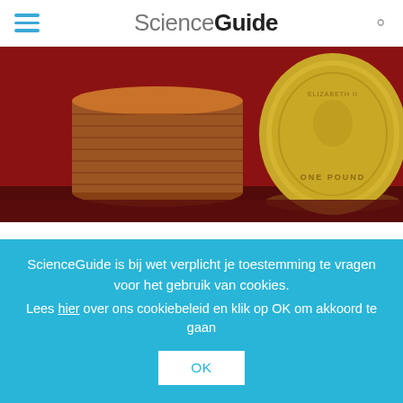ScienceGuide
[Figure (photo): Stack of copper/bronze coins with a gold British One Pound coin in the foreground on a red background]
In 2011, British Prime Minister David Cameron announced a newera of higher education on the island. Competition betweenuniversities should be increased and budgets cut while studentsfinally understand studying as an investment that pays a
ScienceGuide is bij wet verplicht je toestemming te vragen voor het gebruik van cookies.
Lees hier over ons cookiebeleid en klik op OK om akkoord te gaan
OK